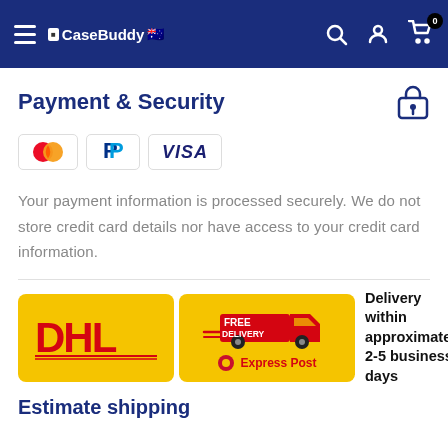CaseBuddy [nav bar with hamburger menu, logo, search, account, cart icons]
Payment & Security
[Figure (infographic): Payment method icons: Mastercard, PayPal, Visa]
Your payment information is processed securely. We do not store credit card details nor have access to your credit card information.
[Figure (infographic): DHL logo on yellow background, Free Delivery truck graphic, Express Post label. Text: Delivery within approximately 2-5 business days]
Estimate shipping